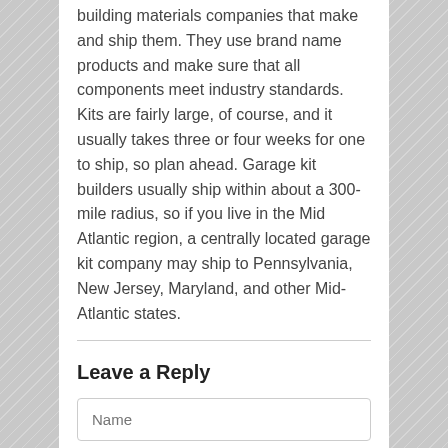building materials companies that make and ship them. They use brand name products and make sure that all components meet industry standards. Kits are fairly large, of course, and it usually takes three or four weeks for one to ship, so plan ahead. Garage kit builders usually ship within about a 300-mile radius, so if you live in the Mid Atlantic region, a centrally located garage kit company may ship to Pennsylvania, New Jersey, Maryland, and other Mid-Atlantic states.
Leave a Reply
Name
Email